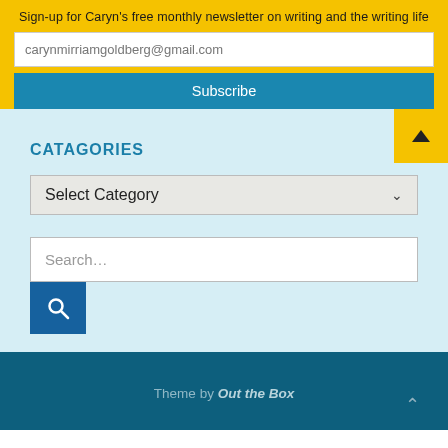Sign-up for Caryn's free monthly newsletter on writing and the writing life
carynmirriamgoldberg@gmail.com
Subscribe
CATAGORIES
Select Category
Search...
Theme by Out the Box